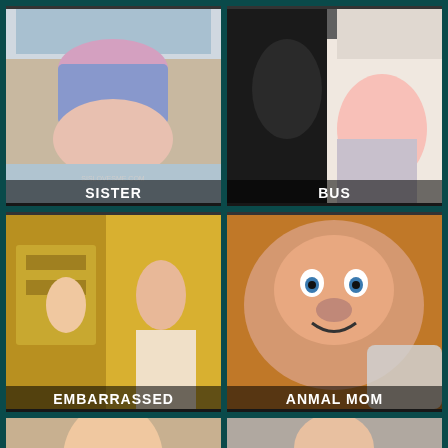[Figure (photo): Thumbnail image labeled SISTER]
[Figure (photo): Thumbnail image labeled BUS]
[Figure (photo): Thumbnail image labeled EMBARRASSED]
[Figure (photo): Thumbnail image labeled ANMAL MOM]
[Figure (photo): Bottom left thumbnail, partial view]
[Figure (photo): Bottom right thumbnail, partial view]